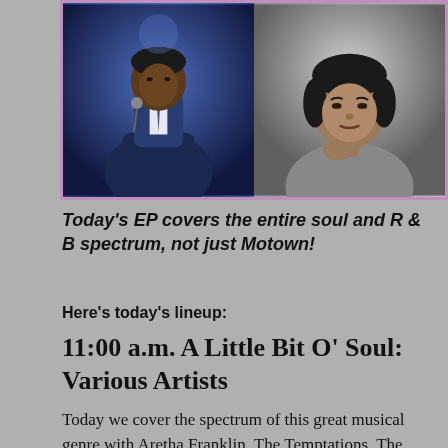[Figure (photo): Two side-by-side photos: left photo shows a male singer performing on stage with blue lighting; right photo shows a young woman (Aretha Franklin) in black and white portrait, both inside a purple-bordered frame.]
Today's EP covers the entire soul and R & B spectrum, not just Motown!
Here's today's lineup:
11:00 a.m. A Little Bit O' Soul: Various Artists
Today we cover the spectrum of this great musical genre with Aretha Franklin, The Temptations, The Four Tops, The Ronettes, Marvin Gaye, Ray Charles, Sti...